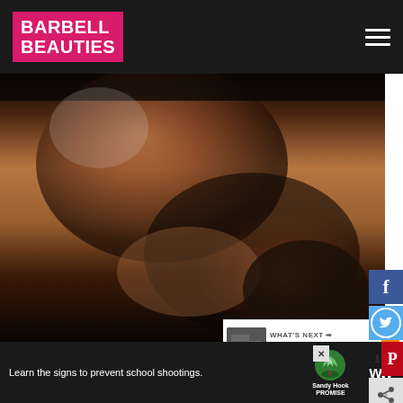BARBELL BEAUTIES
[Figure (photo): Cropped photo of a fit woman's torso/abs wearing black workout shorts and fingerless gym gloves, against a dark background]
And all of that is bullshit.
[Figure (screenshot): Social media sharing sidebar with Facebook, Twitter, Pinterest, Share, and Instagram buttons; shows count of 1]
[Figure (infographic): What's Next widget showing thumbnail and text: 15 Problems Only Female...]
[Figure (other): Advertisement banner: Learn the signs to prevent school shootings. Sandy Hook Promise logo. WW logo.]